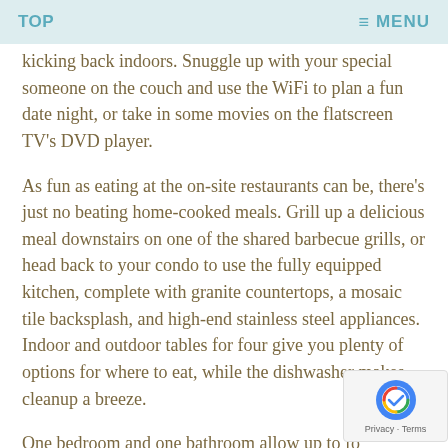TOP   ≡ MENU
kicking back indoors. Snuggle up with your special someone on the couch and use the WiFi to plan a fun date night, or take in some movies on the flatscreen TV's DVD player.
As fun as eating at the on-site restaurants can be, there's just no beating home-cooked meals. Grill up a delicious meal downstairs on one of the shared barbecue grills, or head back to your condo to use the fully equipped kitchen, complete with granite countertops, a mosaic tile backsplash, and high-end stainless steel appliances. Indoor and outdoor tables for four give you plenty of options for where to eat, while the dishwasher makes cleanup a breeze.
One bedroom and one bathroom allow up to fo... guests to sleep in comfort. The bedroom boast... luxurious king-size bed, along with its own flatscreen...